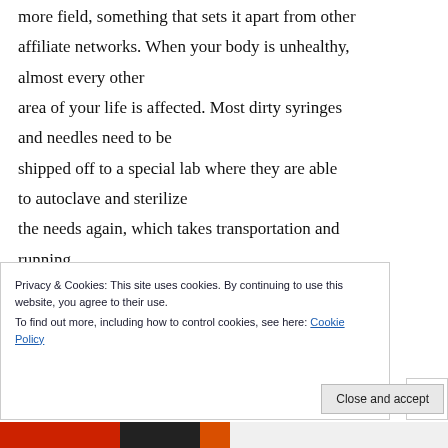more field, something that sets it apart from other affiliate networks. When your body is unhealthy, almost every other area of your life is affected. Most dirty syringes and needles need to be shipped off to a special lab where they are able to autoclave and sterilize the needs again, which takes transportation and running costs. What are the options available for
Privacy & Cookies: This site uses cookies. By continuing to use this website, you agree to their use.
To find out more, including how to control cookies, see here: Cookie Policy
Close and accept